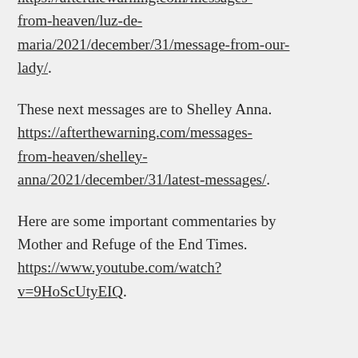https://afterthewarning.com/messages-from-heaven/luz-de-maria/2021/december/31/message-from-our-lady/.
These next messages are to Shelley Anna. https://afterthewarning.com/messages-from-heaven/shelley-anna/2021/december/31/latest-messages/.
Here are some important commentaries by Mother and Refuge of the End Times. https://www.youtube.com/watch?v=9HoScUtyEIQ.